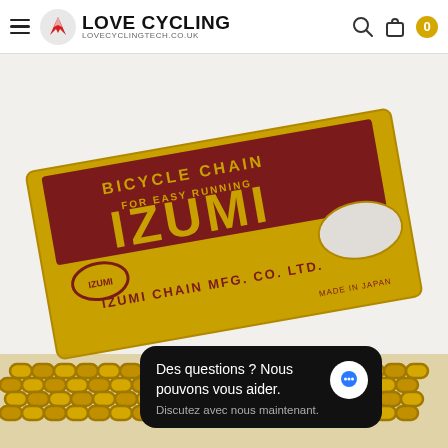Love Cycling — LOVECYCLINGTECH.CO.UK
[Figure (photo): Product photo of Izumi bicycle chain box (gold/dark red) labeled 'BICYCLE CHAIN FOR EASY RUNNING IZUMI CHAIN MFG. CO. LTD. MADE IN JAPAN', with a gold bicycle chain coiled in front below.]
Des questions ? Nous pouvons vous aider.
Discutez avec nous maintenant.